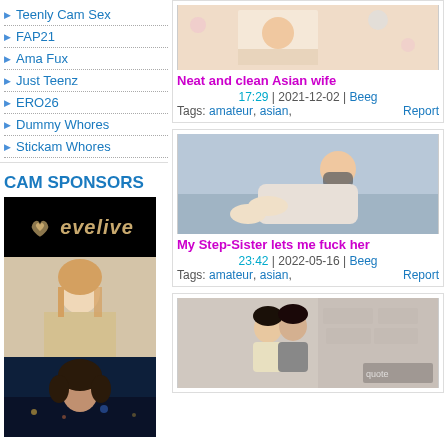Teenly Cam Sex
FAP21
Ama Fux
Just Teenz
ERO26
Dummy Whores
Stickam Whores
CAM SPONSORS
[Figure (photo): Evelive cam sponsor banner with logo and webcam model thumbnails]
[Figure (photo): Thumbnail of Asian wife video]
Neat and clean Asian wife
17:29 | 2021-12-02 | Beeg
Tags: amateur, asian,
Report
[Figure (photo): Thumbnail of Step-Sister video]
My Step-Sister lets me fuck her
23:42 | 2022-05-16 | Beeg
Tags: amateur, asian,
Report
[Figure (photo): Thumbnail of couple kissing video]